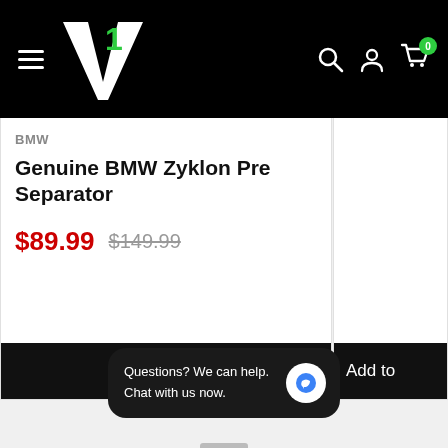[Figure (screenshot): E-commerce website header with black background, V1 logo (white V with green 1), hamburger menu icon, search icon, user icon, and cart icon with 0 badge]
BMW
Genuine BMW Zyklon Pre Separator
$89.99  $149.99
Add to cart
Add to
Questions? We can help. Chat with us now.